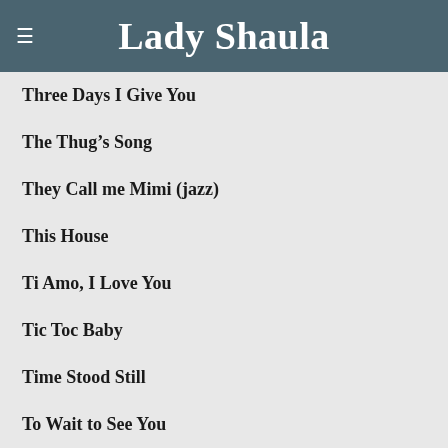Lady Shaula
Three Days I Give You
The Thug’s Song
They Call me Mimi (jazz)
This House
Ti Amo, I Love You
Tic Toc Baby
Time Stood Still
To Wait to See You
Toxic Tango
Tree of Three